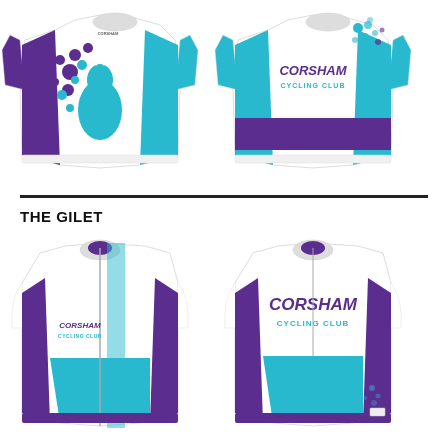[Figure (illustration): Front and back view of Corsham Cycling Club jersey. Front view shows white jersey with purple side panels, teal peacock graphic, and purple dot pattern. Back view shows teal and purple design with CORSHAM CYCLING CLUB logo and dot pattern.]
[Figure (illustration): Front and back view of Corsham Cycling Club gilet. Front view shows white and teal gilet with purple accents and CORSHAM CYCLING CLUB text. Back view shows white top section with CORSHAM CYCLING CLUB text in purple and teal, and teal/purple lower section.]
THE GILET